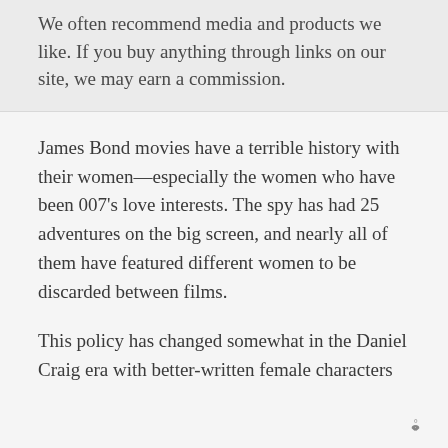We often recommend media and products we like. If you buy anything through links on our site, we may earn a commission.
James Bond movies have a terrible history with their women—especially the women who have been 007's love interests. The spy has had 25 adventures on the big screen, and nearly all of them have featured different women to be discarded between films.
This policy has changed somewhat in the Daniel Craig era with better-written female characters
W°